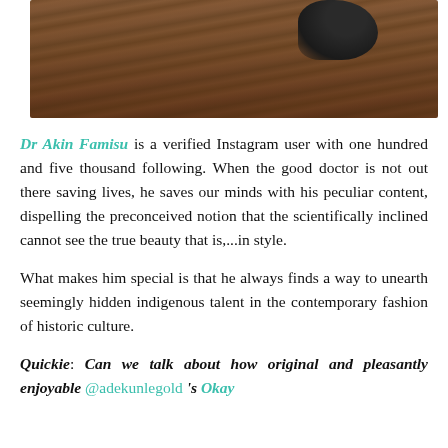[Figure (photo): Partial photo of wooden deck planks with what appears to be a shoe or item at top, brown wood grain texture visible.]
Dr Akin Famisu is a verified Instagram user with one hundred and five thousand following. When the good doctor is not out there saving lives, he saves our minds with his peculiar content, dispelling the preconceived notion that the scientifically inclined cannot see the true beauty that is,...in style.
What makes him special is that he always finds a way to unearth seemingly hidden indigenous talent in the contemporary fashion of historic culture.
Quickie: Can we talk about how original and pleasantly enjoyable @adekunlegold 's Okay